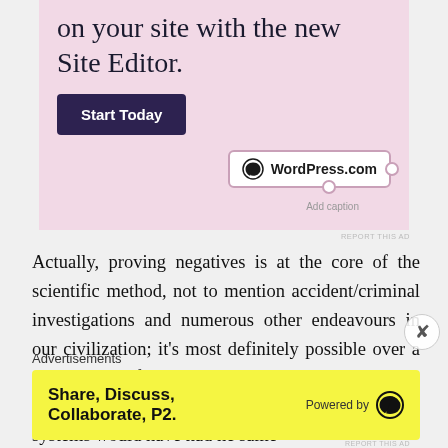[Figure (screenshot): WordPress.com advertisement with pink background showing 'on your site with the new Site Editor.' text, a dark 'Start Today' button, and a WordPress.com badge with Add caption label]
REPORT THIS AD
Actually, proving negatives is at the core of the scientific method, not to mention accident/criminal investigations and numerous other endeavours in our civilization; it's most definitely possible over a wide range of circumstances to prove a negative. Four backpack bombs in four major city transit systems would have had he same
Advertisements
[Figure (screenshot): Yellow advertisement banner: 'Share, Discuss, Collaborate, P2.' with WordPress Powered by logo on the right]
REPORT THIS AD